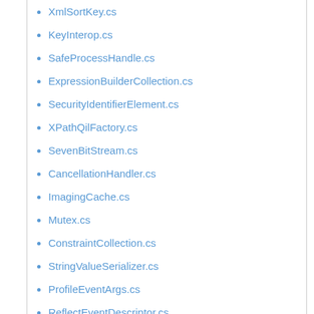XmlSortKey.cs
KeyInterop.cs
SafeProcessHandle.cs
ExpressionBuilderCollection.cs
SecurityIdentifierElement.cs
XPathQilFactory.cs
SevenBitStream.cs
CancellationHandler.cs
ImagingCache.cs
Mutex.cs
ConstraintCollection.cs
StringValueSerializer.cs
ProfileEventArgs.cs
ReflectEventDescriptor.cs
PreApplicationStartMethodAttribute.cs